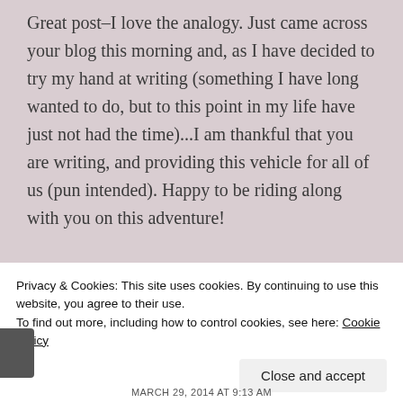Great post–I love the analogy. Just came across your blog this morning and, as I have decided to try my hand at writing (something I have long wanted to do, but to this point in my life have just not had the time)...I am thankful that you are writing, and providing this vehicle for all of us (pun intended). Happy to be riding along with you on this adventure!
★ Like
REPLY
Privacy & Cookies: This site uses cookies. By continuing to use this website, you agree to their use. To find out more, including how to control cookies, see here: Cookie Policy
Close and accept
MARCH 29, 2014 AT 9:13 AM